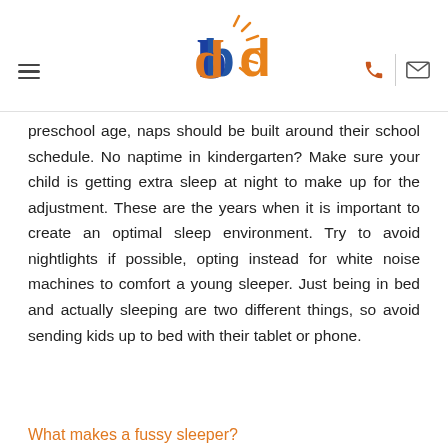[Logo: bb with sun rays] [hamburger menu] [phone icon] [mail icon]
preschool age, naps should be built around their school schedule. No naptime in kindergarten? Make sure your child is getting extra sleep at night to make up for the adjustment. These are the years when it is important to create an optimal sleep environment. Try to avoid nightlights if possible, opting instead for white noise machines to comfort a young sleeper. Just being in bed and actually sleeping are two different things, so avoid sending kids up to bed with their tablet or phone.
What makes a fussy sleeper?